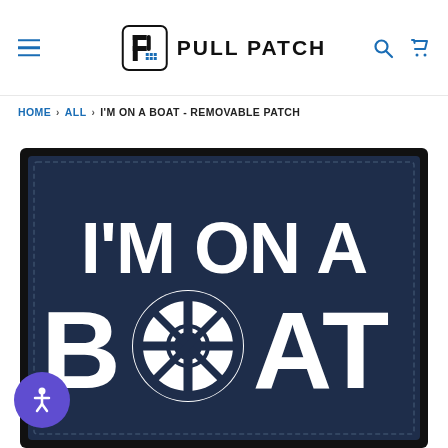Pull Patch — site header with navigation, logo, search and cart icons
HOME > ALL > I'M ON A BOAT - REMOVABLE PATCH
[Figure (photo): Product photo of a dark navy blue removable patch with bold white text reading I'M ON A BOAT, with a ship's wheel icon replacing the letter O in BOAT. The patch has a black stitched border and a cloth-like texture.]